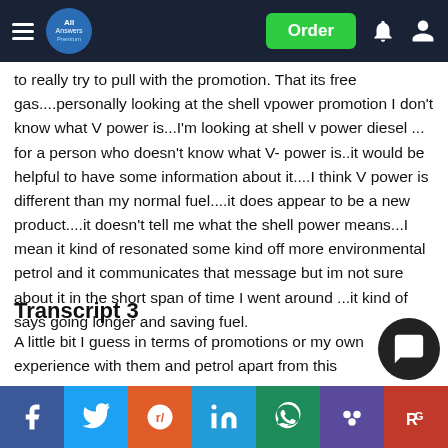All Answers - Order
to really try to pull with the promotion. That its free gas....personally looking at the shell vpower promotion I don't know what V power is...I'm looking at shell v power diesel ... for a person who doesn't know what V- power is..it would be helpful to have some information about it....I think V power is different than my normal fuel....it does appear to be a new product....it doesn't tell me what the shell power means...I mean it kind of resonated some kind off more environmental petrol and it communicates that message but im not sure about it in the short span of time I went around ...it kind of says going longer and saving fuel.
Transcript 3
A little bit I guess in terms of promotions or my own experience with them and petrol apart from this
1. How oft... ...your s...p c...m...t